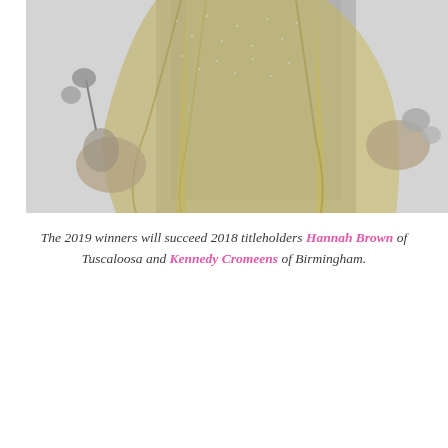[Figure (photo): Black and white photo of a woman with long blonde hair wearing a sparkly/sequined top, holding flowers in both hands against a light background.]
The 2019 winners will succeed 2018 titleholders Hannah Brown of Tuscaloosa and Kennedy Cromeens of Birmingham.